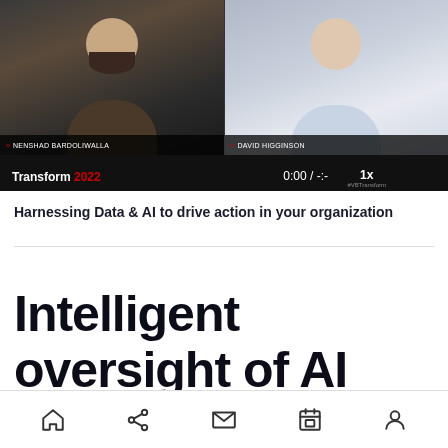[Figure (screenshot): Video conference screenshot showing two people: Nenshad Bardoliwalla on the left and David Higginson on the right, with Transform 2022 branding, showing 0:00 / -:- timestamp and 1x playback speed.]
Harnessing Data & AI to drive action in your organization
Intelligent oversight of AI